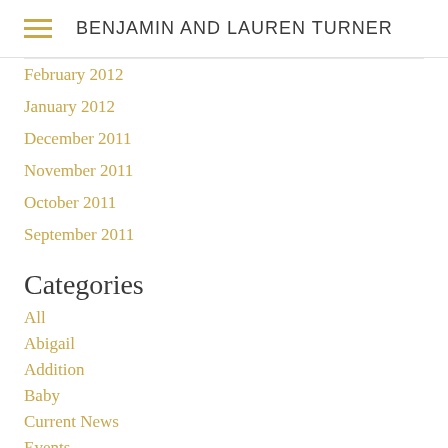BENJAMIN AND LAUREN TURNER
February 2012
January 2012
December 2011
November 2011
October 2011
September 2011
Categories
All
Abigail
Addition
Baby
Current News
Events
Garden
Grandma Lila
Holidays
Marriage